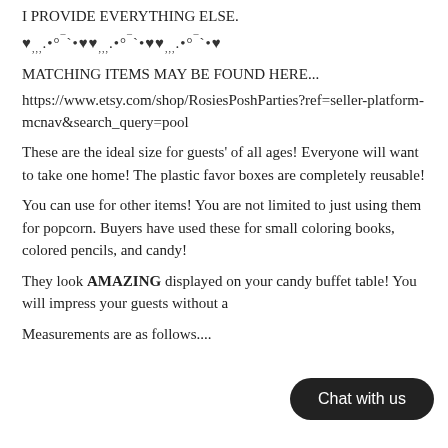I PROVIDE EVERYTHING ELSE.
♥,,,.•°¯`•♥♥,,,.•°¯`•♥♥,,,.•°¯`•♥
MATCHING ITEMS MAY BE FOUND HERE...
https://www.etsy.com/shop/RosiesPoshParties?ref=seller-platform-mcnav&search_query=pool
These are the ideal size for guests' of all ages! Everyone will want to take one home! The plastic favor boxes are completely reusable!
You can use for other items! You are not limited to just using them for popcorn. Buyers have used these for small coloring books, colored pencils, and candy!
They look AMAZING displayed on your candy buffet table! You will impress your guests without a
Measurements are as follows....